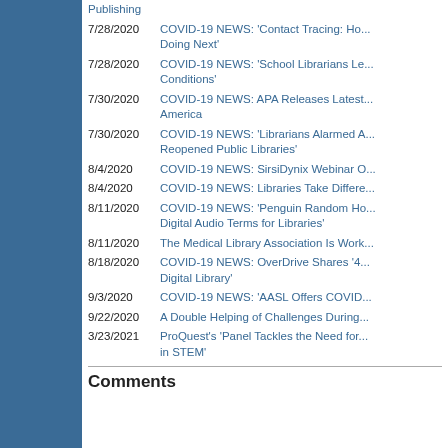Publishing
7/28/2020 COVID-19 NEWS: 'Contact Tracing: Ho... Doing Next'
7/28/2020 COVID-19 NEWS: 'School Librarians Le... Conditions'
7/30/2020 COVID-19 NEWS: APA Releases Lates... America
7/30/2020 COVID-19 NEWS: 'Librarians Alarmed A... Reopened Public Libraries'
8/4/2020 COVID-19 NEWS: SirsiDynix Webinar O...
8/4/2020 COVID-19 NEWS: Libraries Take Differe...
8/11/2020 COVID-19 NEWS: 'Penguin Random Ho... Digital Audio Terms for Libraries'
8/11/2020 The Medical Library Association Is Work...
8/18/2020 COVID-19 NEWS: OverDrive Shares '4... Digital Library'
9/3/2020 COVID-19 NEWS: 'AASL Offers COVID...
9/22/2020 A Double Helping of Challenges During...
3/23/2021 ProQuest's 'Panel Tackles the Need for... in STEM'
Comments